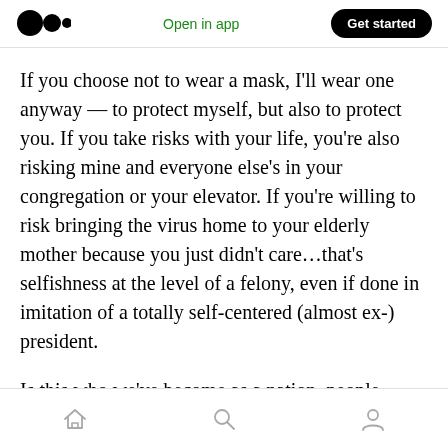Open in app | Get started
If you choose not to wear a mask, I'll wear one anyway — to protect myself, but also to protect you. If you take risks with your life, you're also risking mine and everyone else's in your congregation or your elevator. If you're willing to risk bringing the virus home to your elderly mother because you just didn't care...that's selfishness at the level of a felony, even if done in imitation of a totally self-centered (almost ex-) president.
Is this who we've become as a nation, people
Home | Search | Profile